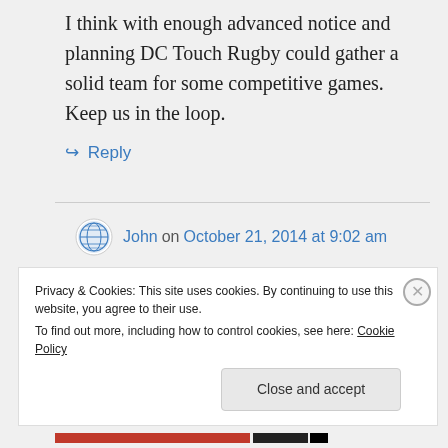I think with enough advanced notice and planning DC Touch Rugby could gather a solid team for some competitive games. Keep us in the loop.
↪ Reply
John on October 21, 2014 at 9:02 am
That's what I'm trying to get organized. I'd like to put together a
Privacy & Cookies: This site uses cookies. By continuing to use this website, you agree to their use.
To find out more, including how to control cookies, see here: Cookie Policy
Close and accept